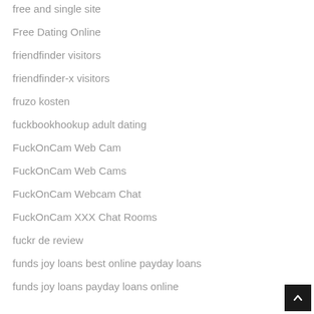free and single site
Free Dating Online
friendfinder visitors
friendfinder-x visitors
fruzo kosten
fuckbookhookup adult dating
FuckOnCam Web Cam
FuckOnCam Web Cams
FuckOnCam Webcam Chat
FuckOnCam XXX Chat Rooms
fuckr de review
funds joy loans best online payday loans
funds joy loans payday loans online